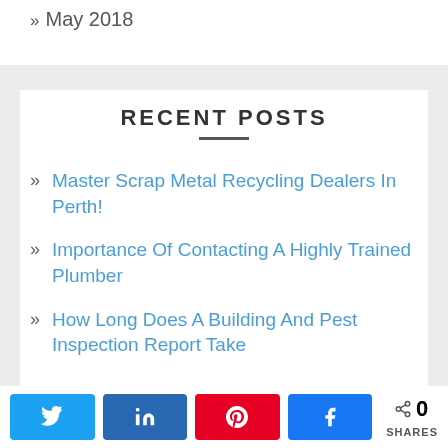» May 2018
RECENT POSTS
» Master Scrap Metal Recycling Dealers In Perth!
» Importance Of Contacting A Highly Trained Plumber
» How Long Does A Building And Pest Inspection Report Take
0 SHARES